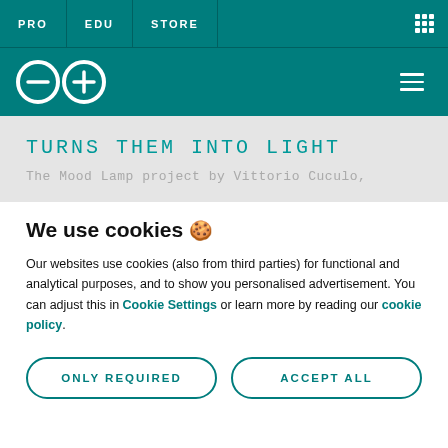PRO  EDU  STORE
[Figure (logo): Arduino infinity logo (two interlocking circles with minus and plus symbols) on teal background with hamburger menu icon]
TURNS THEM INTO LIGHT
The Mood Lamp project by Vittorio Cuculo,
We use cookies 🍪
Our websites use cookies (also from third parties) for functional and analytical purposes, and to show you personalised advertisement. You can adjust this in Cookie Settings or learn more by reading our cookie policy.